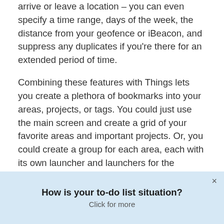arrive or leave a location – you can even specify a time range, days of the week, the distance from your geofence or iBeacon, and suppress any duplicates if you're there for an extended period of time.
Combining these features with Things lets you create a plethora of bookmarks into your areas, projects, or tags. You could just use the main screen and create a grid of your favorite areas and important projects. Or, you could create a group for each area, each with its own launcher and launchers for the projects within that area. You could also create a group for your areas, a group for your top projects, and a group for different subgroups of tags – whatever suits you best.
Launch Center Pro also has the ability to add prompts or use the clipboard so that while you're launching the URL you
How is your to-do list situation?
Click for more